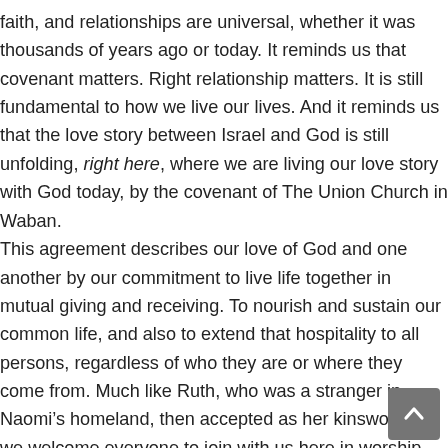faith, and relationships are universal, whether it was thousands of years ago or today. It reminds us that covenant matters. Right relationship matters. It is still fundamental to how we live our lives. And it reminds us that the love story between Israel and God is still unfolding, right here, where we are living our love story with God today, by the covenant of The Union Church in Waban.
This agreement describes our love of God and one another by our commitment to live life together in mutual giving and receiving. To nourish and sustain our common life, and also to extend that hospitality to all persons, regardless of who they are or where they come from. Much like Ruth, who was a stranger in Naomi’s homeland, then accepted as her kinswoman, we welcome everyone to join with us here in worship and fellowship. And also like Ruth and Naomi returning from Moab, we are all like strangers out in the world, but when we are in this community we do...